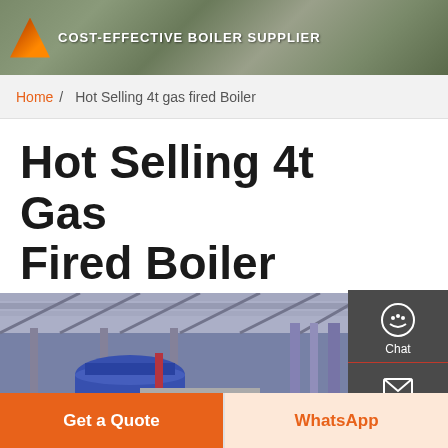COST-EFFECTIVE BOILER SUPPLIER
Home / Hot Selling 4t gas fired Boiler
Hot Selling 4t Gas Fired Boiler
[Figure (photo): Industrial boiler room interior with blue boiler unit, pipes, and steel roof structure]
Chat
Email
Contact
Get a Quote
WhatsApp